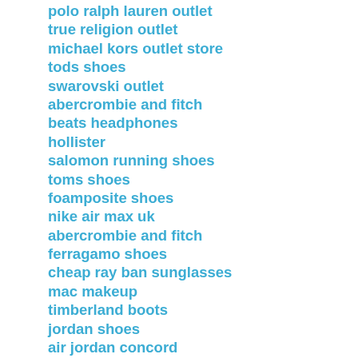polo ralph lauren outlet
true religion outlet
michael kors outlet store
tods shoes
swarovski outlet
abercrombie and fitch
beats headphones
hollister
salomon running shoes
toms shoes
foamposite shoes
nike air max uk
abercrombie and fitch
ferragamo shoes
cheap ray ban sunglasses
mac makeup
timberland boots
jordan shoes
air jordan concord
oakley sunglasses
coach outlet store
prada shoes
new balance shoes